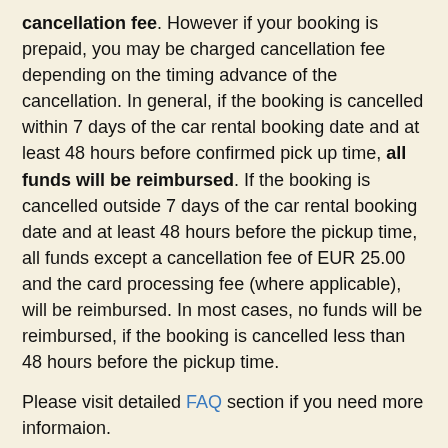cancellation fee. However if your booking is prepaid, you may be charged cancellation fee depending on the timing advance of the cancellation. In general, if the booking is cancelled within 7 days of the car rental booking date and at least 48 hours before confirmed pick up time, all funds will be reimbursed. If the booking is cancelled outside 7 days of the car rental booking date and at least 48 hours before the pickup time, all funds except a cancellation fee of EUR 25.00 and the card processing fee (where applicable), will be reimbursed. In most cases, no funds will be reimbursed, if the booking is cancelled less than 48 hours before the pickup time.
Please visit detailed FAQ section if you need more informaion.
Car Hire Voucher
Your rental voucher is a document which will be emailed to you and must be printed and produced at the rental desk at Juelich when you pick-up your vehicle. The voucher will contain instructions on how to collect the car and contain the car hire company address you will be using, along with all their contact details. The Car Rental